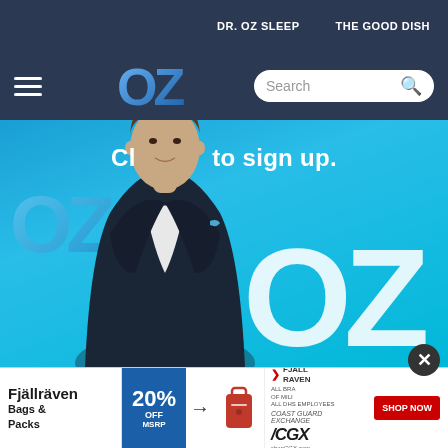DR. OZ SLEEP    THE GOOD DISH
[Figure (screenshot): Navigation bar with hamburger menu, OZ logo, and search box on dark navy background]
[Figure (photo): Dr. Oz standing in blue blazer against bright blue background with large OZ logo watermark and 'Click here to sign up.' text overlay]
[Figure (infographic): Advertisement banner: Fjallraven Bags & Packs, 20% OFF MSRP, arrow, red backpack image, Fjall Raven logo, CGX Coast Guard Exchange shop now button]